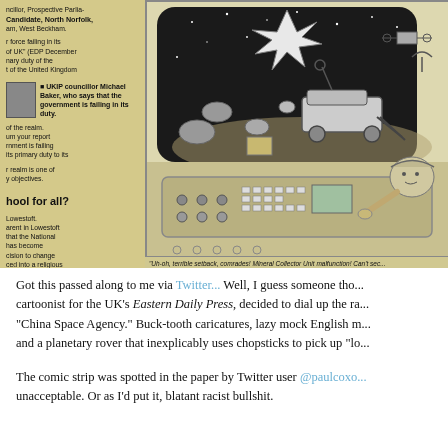[Figure (illustration): A photograph of a newspaper page. On the left is a newspaper column with text about a UKIP councillor (Michael Baker) and headlines including 'hool for all?' and references to Lowestoft. On the right is a cartoon/comic strip showing a space scene with a rover and characters inside a spacecraft cockpit. Below the cartoon is a caption in italic text reading: "Uh-oh, terrible setback, comrades! Mineral Collector Unit malfunction! Can't sec..."]
Got this passed along to me via Twitter... Well, I guess someone thought the cartoonist for the UK's Eastern Daily Press, decided to dial up the racism on the "China Space Agency." Buck-tooth caricatures, lazy mock English m... and a planetary rover that inexplicably uses chopsticks to pick up "lo...
The comic strip was spotted in the paper by Twitter user @paulcoxo... unacceptable. Or as I'd put it, blatant racist bullshit.